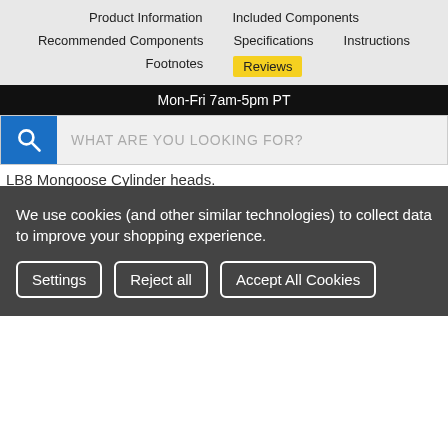Product Information   Included Components   Recommended Components   Specifications   Instructions   Footnotes   Reviews
Mon-Fri 7am-5pm PT
[Figure (screenshot): Search bar with blue magnifying glass icon and placeholder text WHAT ARE YOU LOOKING FOR?]
LB8 Mongoose Cylinder heads.
SHARE   Was this review helpful?   0   0
Kurt Anderson   Verified Buyer   07/29/2021
Tell us about your experience
Awesome customer service and AFR set me up with a bad as set of
We use cookies (and other similar technologies) to collect data to improve your shopping experience.
Settings   Reject all   Accept All Cookies